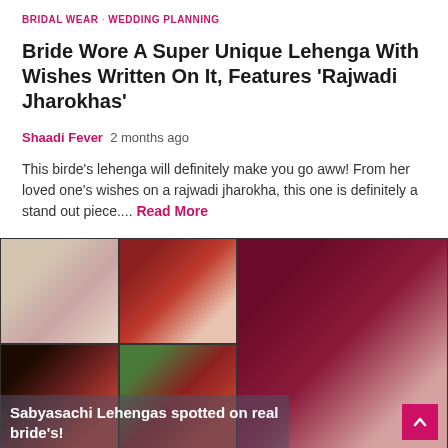BRIDAL WEAR · WEDDING PLANNING
Bride Wore A Super Unique Lehenga With Wishes Written On It, Features 'Rajwadi Jharokhas'
Shaadi Fever  2 months ago
This birde's lehenga will definitely make you go aww! From her loved one's wishes on a rajwadi jharokha, this one is definitely a stand out piece.... Read More
[Figure (photo): Collage of bridal photos showing brides in lehengas including a floral lehenga, red bridal lehenga, couple portrait, outdoor bride, and a main close-up of a bride in maroon and gold lehenga. Overlay text reads 'Sabyasachi Lehengas spotted on real bride's!']
BRIDAL WEAR · WEDDING INSPIRATION · WEDDING PLANNING